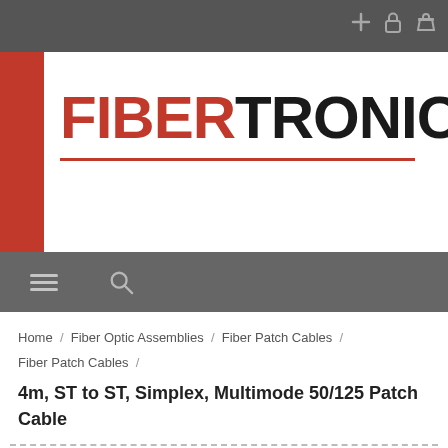FiberTronics website header with navigation icons
[Figure (logo): FiberTronics logo: 'FIBER' in red bold and 'TRONICS' in black bold, with a red starburst/asterisk icon to the right, and a red underline beneath the text. Logo is on a white background flanked by red side panels.]
Home / Fiber Optic Assemblies / Fiber Patch Cables / Fiber Patch Cables /
4m, ST to ST, Simplex, Multimode 50/125 Patch Cable